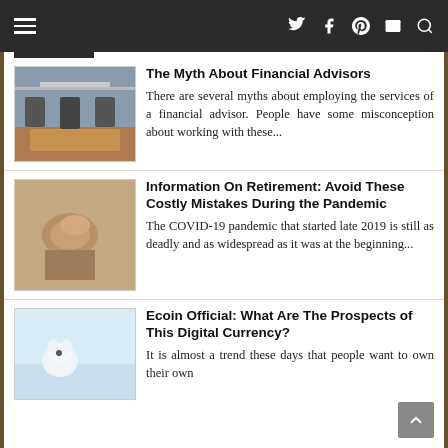Navigation bar with hamburger menu, twitter, facebook, pinterest, email, search icons
The Myth About Financial Advisors
There are several myths about employing the services of a financial advisor. People have some misconception about working with these...
[Figure (photo): Conference room with chairs around a table]
Information On Retirement: Avoid These Costly Mistakes During the Pandemic
The COVID-19 pandemic that started late 2019 is still as deadly and as widespread as it was at the beginning...
[Figure (photo): Elderly person's hands clasped together holding a cane]
Ecoin Official: What Are The Prospects of This Digital Currency?
It is almost a trend these days that people want to own their own
[Figure (photo): White arctic fox in snow]